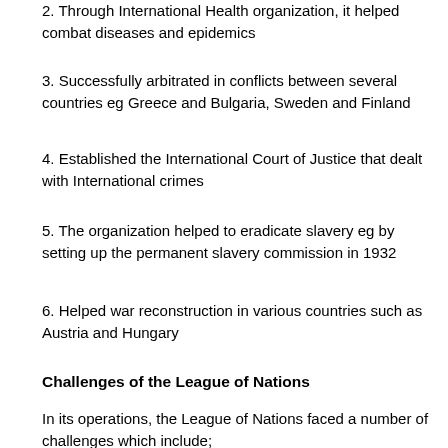2. Through International Health organization, it helped combat diseases and epidemics
3. Successfully arbitrated in conflicts between several countries eg Greece and Bulgaria, Sweden and Finland
4. Established the International Court of Justice that dealt with International crimes
5. The organization helped to eradicate slavery eg by setting up the permanent slavery commission in 1932
6. Helped war reconstruction in various countries such as Austria and Hungary
Challenges of the League of Nations
In its operations, the League of Nations faced a number of challenges which include;